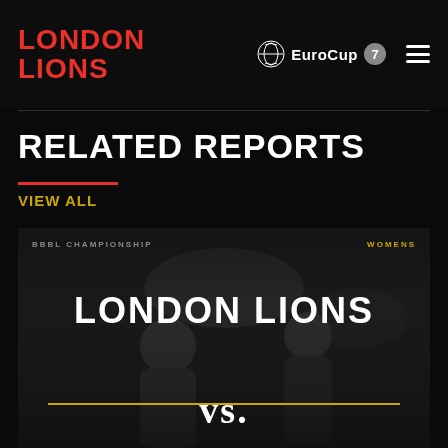LONDON LIONS | EuroCup 7DAYS
RELATED REPORTS
VIEW ALL
[Figure (screenshot): London Lions vs. basketball card with players in background, labels BBBL CHAMPIONSHIP and WOMENS, text LONDON LIONS and vs. with yellow underline]